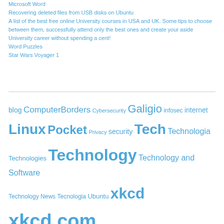Microsoft Word
Recovering deleted files from USB disks on Ubuntu
A list of the best free online University courses in USA and UK. Some tips to choose between them, successfully attend only the best ones and create your aside University career without spending a cent!
Word Puzzles
Star Wars Voyager 1
blog ComputerBorders Cybersecurity Galigio infosec internet Linux Pocket Privacy security Tech Technologia Technologies Technology Technology and Software Technology News Tecnologia Ubuntu xkcd xkcd.com